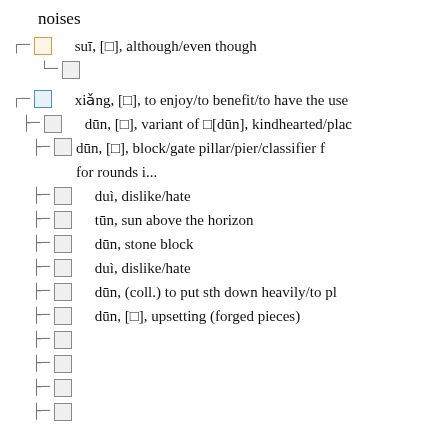noises
suī, [□], although/even though
□
xiǎng, [□], to enjoy/to benefit/to have the use
dūn, [□], variant of □[dūn], kindhearted/plac
dūn, [□], block/gate pillar/pier/classifier for rounds i...
duì, dislike/hate
tūn, sun above the horizon
dūn, stone block
duì, dislike/hate
dūn, (coll.) to put sth down heavily/to pl
dūn, [□], upsetting (forged pieces)
□
□
□
□